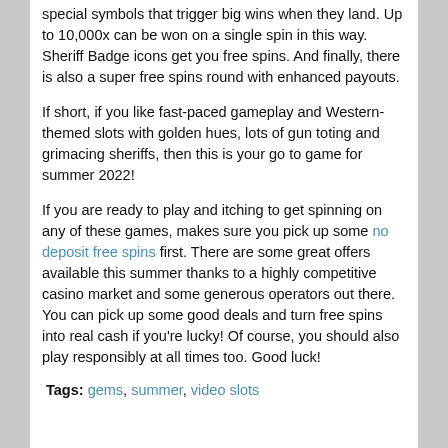special symbols that trigger big wins when they land. Up to 10,000x can be won on a single spin in this way. Sheriff Badge icons get you free spins. And finally, there is also a super free spins round with enhanced payouts.
If short, if you like fast-paced gameplay and Western-themed slots with golden hues, lots of gun toting and grimacing sheriffs, then this is your go to game for summer 2022!
If you are ready to play and itching to get spinning on any of these games, makes sure you pick up some no deposit free spins first. There are some great offers available this summer thanks to a highly competitive casino market and some generous operators out there. You can pick up some good deals and turn free spins into real cash if you're lucky! Of course, you should also play responsibly at all times too. Good luck!
Tags: gems, summer, video slots